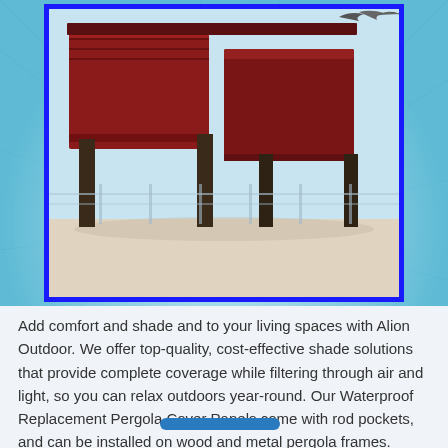[Figure (illustration): A 3D rendered illustration of a pergola structure with dark red/maroon shade panels on top supported by dark metal or wooden posts, shown against a light sandy/snowy ground background. The image has a blue border.]
Add comfort and shade and to your living spaces with Alion Outdoor. We offer top-quality, cost-effective shade solutions that provide complete coverage while filtering through air and light, so you can relax outdoors year-round. Our Waterproof Replacement Pergola Cover Panels come with rod pockets, and can be installed on wood and metal pergola frames. 100% […]